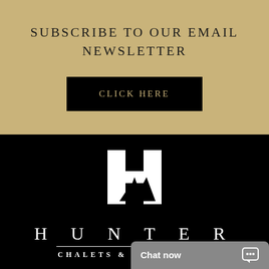SUBSCRIBE TO OUR EMAIL NEWSLETTER
CLICK HERE
[Figure (logo): Hunter Chalets & Apartments logo: white H shape with mountain silhouette inside on black background]
HUNTER
CHALETS & APARTMENTS
Chat now